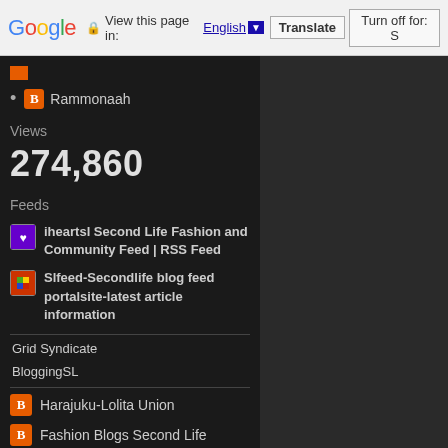Google  View this page in: English  Translate  Turn off for: S
Rammonaah
Views
274,860
Feeds
iheartsl Second Life Fashion and Community Feed | RSS Feed
Slfeed-Secondlife blog feed portalsite-latest article information
Grid Syndicate
BloggingSL
Harajuku-Lolita Union
Fashion Blogs Second Life
Luppsl feeds bloggers!